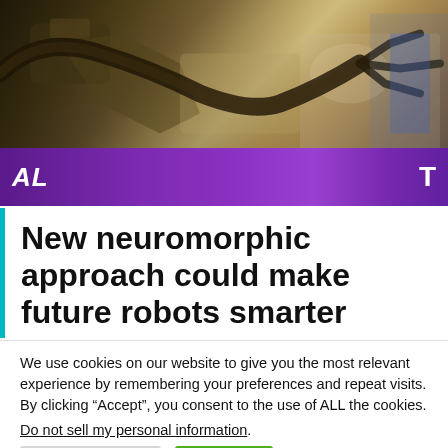[Figure (photo): Photograph of a robotic arm/mechanical device in a lab setting, partially visible at top of page. A purple banner overlay with partial text 'AL' on the left and 'T' on the right is visible at the bottom of the image area.]
New neuromorphic approach could make future robots smarter
We use cookies on our website to give you the most relevant experience by remembering your preferences and repeat visits. By clicking “Accept”, you consent to the use of ALL the cookies.
Do not sell my personal information.